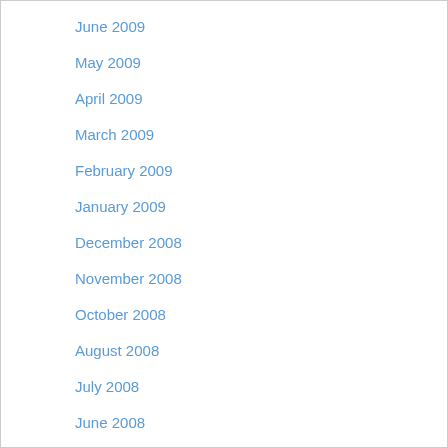June 2009
May 2009
April 2009
March 2009
February 2009
January 2009
December 2008
November 2008
October 2008
August 2008
July 2008
June 2008
March 2008